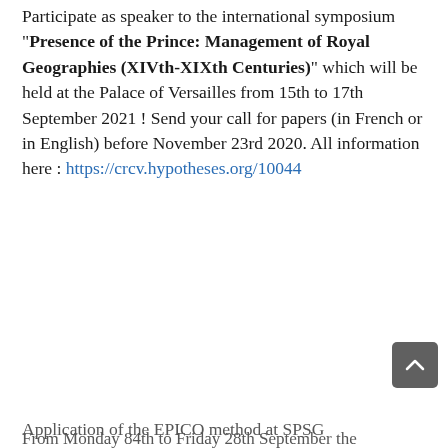Participate as speaker to the international symposium "Presence of the Prince: Management of Royal Geographies (XIVth-XIXth Centuries)" which will be held at the Palace of Versailles from 15th to 17th September 2021 ! Send your call for papers (in French or in English) before November 23rd 2020. All information here : https://crcv.hypotheses.org/10044
Application of the EPICO method at SPSG
From Monday 84th to Friday 28th September the